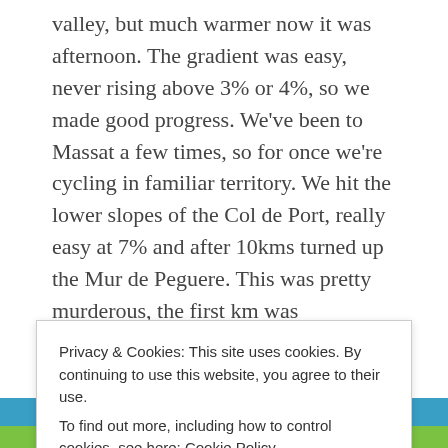valley, but much warmer now it was afternoon. The gradient was easy, never rising above 3% or 4%, so we made good progress. We've been to Massat a few times, so for once we're cycling in familiar territory. We hit the lower slopes of the Col de Port, really easy at 7% and after 10kms turned up the Mur de Peguere. This was pretty murderous, the first km was 17%-20%, so hard, we crawled up. The climb eased as you progressed to 8%-9% so still hard. It was over fairly quick being only 5kms or so in length. The best thing now was we had zero uphill left and 30kms all the way downhill at 7%-8% to Foix. A really fast
We are open for servicing, repairs and accessories. Bike
Privacy & Cookies: This site uses cookies. By continuing to use this website, you agree to their use. To find out more, including how to control cookies, see here: Cookie Policy
Close and accept